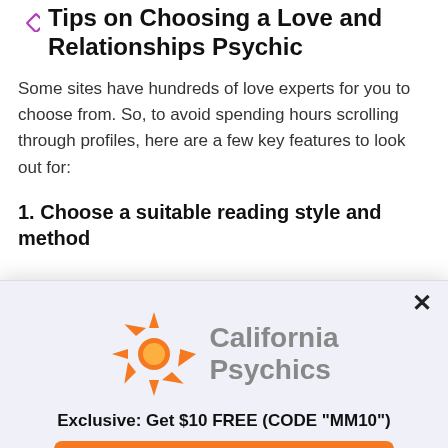Tips on Choosing a Love and Relationships Psychic
Some sites have hundreds of love experts for you to choose from. So, to avoid spending hours scrolling through profiles, here are a few key features to look out for:
1. Choose a suitable reading style and method
[Figure (logo): California Psychics logo with orange starburst sun icon and gray text 'California Psychics']
Exclusive: Get $10 FREE (CODE "MM10")
Call Now